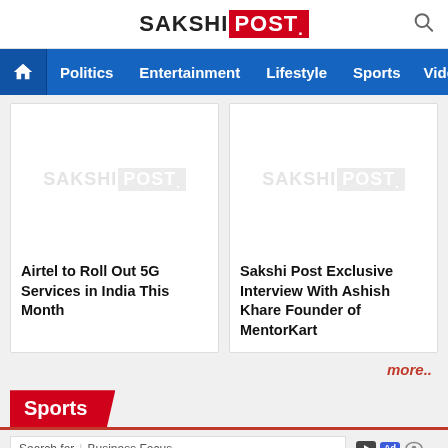SAKSHI POST
Politics  Entertainment  Lifestyle  Sports  Vide
[Figure (logo): Sakshi Post placeholder logo image (greyed out watermark)]
Airtel to Roll Out 5G Services in India This Month
[Figure (logo): Sakshi Post placeholder logo image (greyed out watermark)]
Sakshi Post Exclusive Interview With Ashish Khare Founder of MentorKart
more..
Sports
Search for | Business Focus
1.  BEST DENTISTS NEAR ME